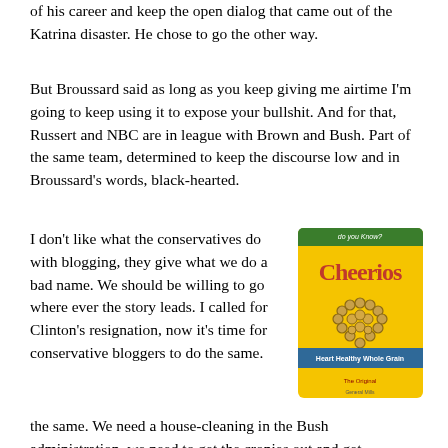of his career and keep the open dialog that came out of the Katrina disaster. He chose to go the other way.
But Broussard said as long as you keep giving me airtime I'm going to keep using it to expose your bullshit. And for that, Russert and NBC are in league with Brown and Bush. Part of the same team, determined to keep the discourse low and in Broussard's words, black-hearted.
I don't like what the conservatives do with blogging, they give what we do a bad name. We should be willing to go where ever the story leads. I called for Clinton's resignation, now it's time for conservative bloggers to do the same. We need a house-cleaning in the Bush administration, we need to get the cronies out and get competence in. Same goes for our journalists. They were culpable here. Had Russert and his colleagues pressed Bush on his military career, we might have avoided the disaster of Mike Brown by avoiding the larger disaster of George Bush. Time is right to ask how many other Browns are there? They're as dangerous as Osama bin Laden, and luckily we can root them out and get rid of them, we're not powerless. Russert should be our tool in this crusade, instead he's nitpicking and looking for an emotional joyride.
[Figure (illustration): Cheerios cereal box with a heart shape made of Cheerios on the front, yellow box with red and white text reading Cheerios]